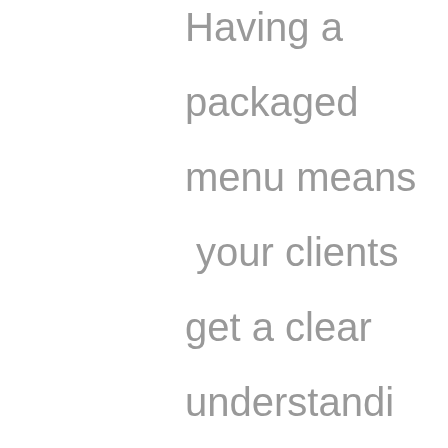Having a packaged menu means your clients get a clear understanding of the value you serve to their personal and business